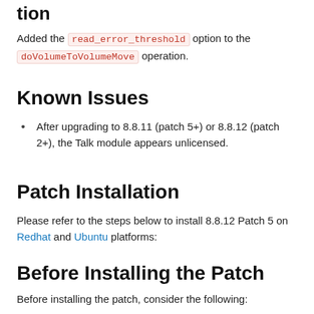tion
Added the read_error_threshold option to the doVolumeToVolumeMove operation.
Known Issues
After upgrading to 8.8.11 (patch 5+) or 8.8.12 (patch 2+), the Talk module appears unlicensed.
Patch Installation
Please refer to the steps below to install 8.8.12 Patch 5 on Redhat and Ubuntu platforms:
Before Installing the Patch
Before installing the patch, consider the following:
Patches are cumulative.